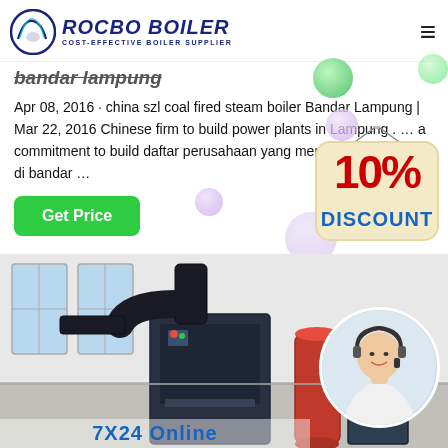ROCBO BOILER - COST-EFFECTIVE BOILER SUPPLIER
bandar lampung
Apr 08, 2016 · china szl coal fired steam boiler Bandar Lampung | Mar 22, 2016 Chinese firm to build power plants in Lampung . … a commitment to build daftar perusahaan yang memakai mesin boiler di bandar …
[Figure (other): Green Get Price button with decorative purple/lavender bubbles and a 10% DISCOUNT badge hanging sign in the top right area]
[Figure (photo): Industrial boiler equipment in a factory/workshop setting with large machinery, pipes and cylinders visible. A circular inset photo shows a female customer service agent with headset smiling. Text at bottom reads '7X24 Online'.]